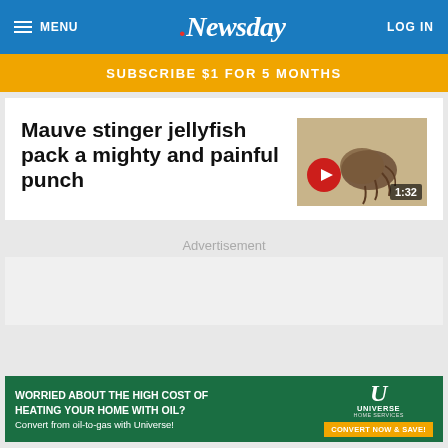MENU | Newsday | LOG IN
SUBSCRIBE $1 FOR 5 MONTHS
Mauve stinger jellyfish pack a mighty and painful punch
[Figure (screenshot): Video thumbnail showing a mauve stinger jellyfish on sand, with a red play button and duration 1:32]
Advertisement
WORRIED ABOUT THE HIGH COST OF HEATING YOUR HOME WITH OIL? Convert from oil-to-gas with Universe! | UNIVERSE HOME SERVICES | CONVERT NOW & SAVE!